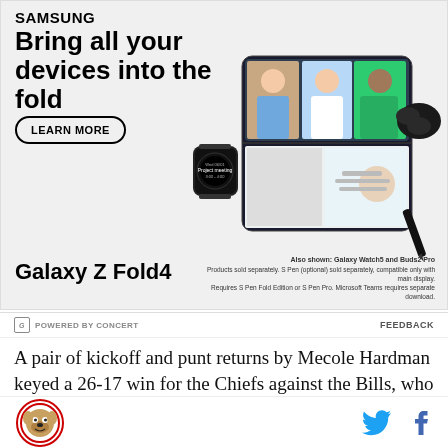[Figure (illustration): Samsung Galaxy Z Fold4 advertisement showing Samsung logo, headline 'Bring all your devices into the fold', a Learn More button, and product images of Galaxy Z Fold4, Galaxy Watch5, and Buds2 Pro]
POWERED BY CONCERT    FEEDBACK
A pair of kickoff and punt returns by Mecole Hardman keyed a 26-17 win for the Chiefs against the Bills, who were aided by a four-yard catch from Isaiah McKenzie
[Figure (logo): Bulldog mascot logo (circular red border)]
[Figure (logo): Twitter bird icon and Facebook f icon]